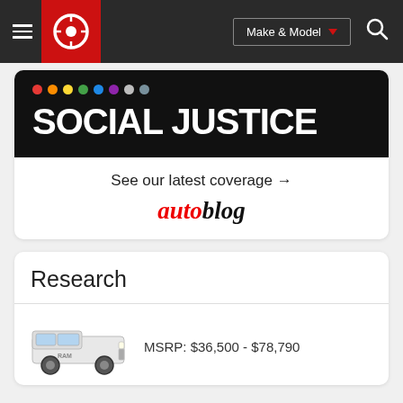Make & Model
[Figure (screenshot): Social Justice banner ad with colorful dots and bold white text on black background, with 'See our latest coverage →' and Autoblog logo]
Research
MSRP: $36,500 - $78,790